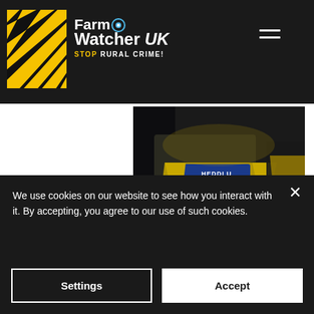Farm Watcher UK – STOP RURAL CRIME!
[Figure (photo): Close-up photograph of police officers in yellow high-visibility jackets with a badge reading HEDDLU POLICE (Welsh Police)]
Thursday, 25 August 2022
Police investigate livestock theft after 14 lambs stolen
We use cookies on our website to see how you interact with it. By accepting, you agree to our use of such cookies.